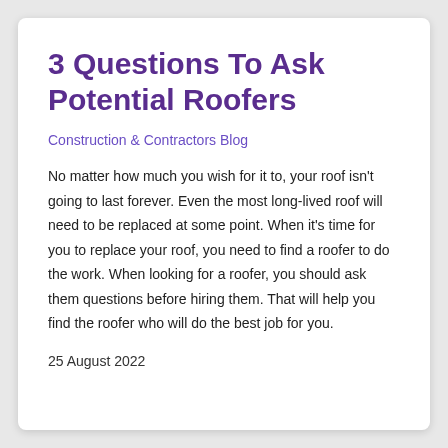3 Questions To Ask Potential Roofers
Construction & Contractors Blog
No matter how much you wish for it to, your roof isn't going to last forever. Even the most long-lived roof will need to be replaced at some point. When it's time for you to replace your roof, you need to find a roofer to do the work. When looking for a roofer, you should ask them questions before hiring them. That will help you find the roofer who will do the best job for you.
25 August 2022